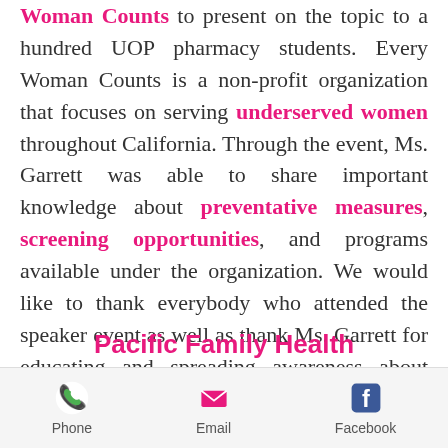Woman Counts to present on the topic to a hundred UOP pharmacy students. Every Woman Counts is a non-profit organization that focuses on serving underserved women throughout California. Through the event, Ms. Garrett was able to share important knowledge about preventative measures, screening opportunities, and programs available under the organization. We would like to thank everybody who attended the speaker event as well as thank Ms. Garrett for educating and spreading awareness about cervical cancer!
Pacific Family Health...
Phone | Email | Facebook